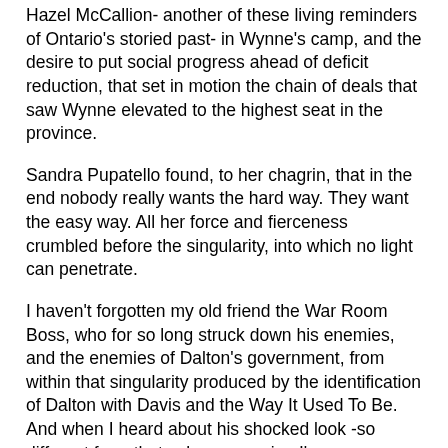Hazel McCallion- another of these living reminders of Ontario's storied past- in Wynne's camp, and the desire to put social progress ahead of deficit reduction, that set in motion the chain of deals that saw Wynne elevated to the highest seat in the province.
Sandra Pupatello found, to her chagrin, that in the end nobody really wants the hard way. They want the easy way. All her force and fierceness crumbled before the singularity, into which no light can penetrate.
I haven't forgotten my old friend the War Room Boss, who for so long struck down his enemies, and the enemies of Dalton's government, from within that singularity produced by the identification of Dalton with Davis and the Way It Used To Be. And when I heard about his shocked look -so different from that calm expression I've seen up close-  on that fateful Saturday when the judgement came down, and his subsequent comparison of the OLP to "the Titanic"- I felt a pang. I did.
As these and others- Bentley, Duncan, Bartolucci, and